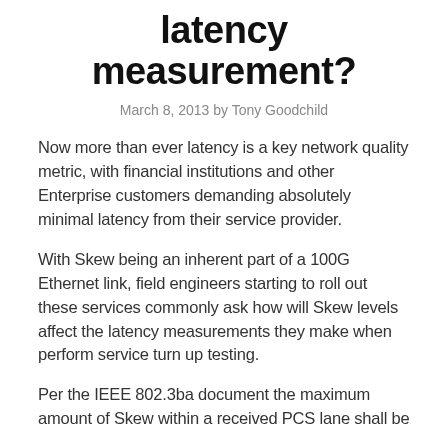latency measurement?
March 8, 2013 by Tony Goodchild
Now more than ever latency is a key network quality metric, with financial institutions and other Enterprise customers demanding absolutely minimal latency from their service provider.
With Skew being an inherent part of a 100G Ethernet link, field engineers starting to roll out these services commonly ask how will Skew levels affect the latency measurements they make when perform service turn up testing.
Per the IEEE 802.3ba document the maximum amount of Skew within a received PCS lane shall be